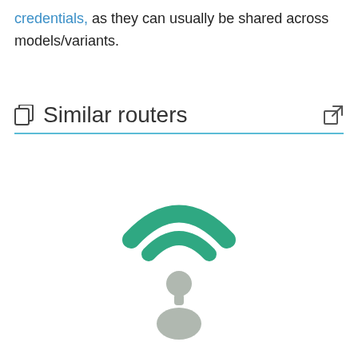credentials, as they can usually be shared across models/variants.
Similar routers
[Figure (illustration): WiFi/router icon: two green curved wifi signal arcs above a grey person/user silhouette figure, representing router or wireless connectivity]